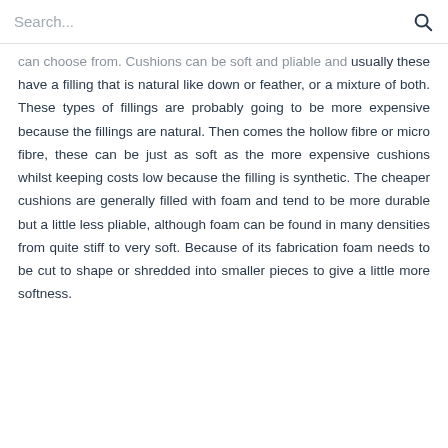Search...
can choose from. Cushions can be soft and pliable and usually these have a filling that is natural like down or feather, or a mixture of both. These types of fillings are probably going to be more expensive because the fillings are natural. Then comes the hollow fibre or micro fibre, these can be just as soft as the more expensive cushions whilst keeping costs low because the filling is synthetic. The cheaper cushions are generally filled with foam and tend to be more durable but a little less pliable, although foam can be found in many densities from quite stiff to very soft. Because of its fabrication foam needs to be cut to shape or shredded into smaller pieces to give a little more softness.